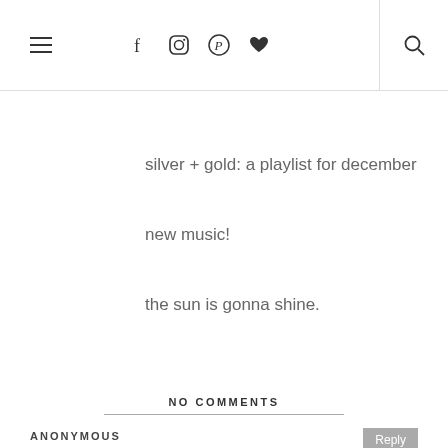Navigation header with hamburger menu, social icons (Facebook, Instagram, Pinterest, heart), and search icon
silver + gold: a playlist for december
new music!
the sun is gonna shine.
NO COMMENTS
ANONYMOUS
24 Aug 2012 at 09:23
Elizabeth, Just remember that the freest person who ever lived was Jesus. He laughed and loved and gave himself without reservation to
belovelive uses cookies to ensure that we give you the best experience on our website. If you continue to use this site we will assume that you are happy with it and agree to its use. got it! read more